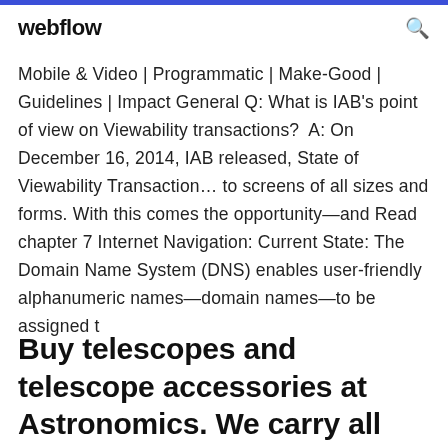webflow
Mobile & Video | Programmatic | Make-Good | Guidelines | Impact General Q: What is IAB's point of view on Viewability transactions? A: On December 16, 2014, IAB released, State of Viewability Transaction… to screens of all sizes and forms. With this comes the opportunity—and Read chapter 7 Internet Navigation: Current State: The Domain Name System (DNS) enables user-friendly alphanumeric names—domain names—to be assigned t
Buy telescopes and telescope accessories at Astronomics. We carry all brands and products,